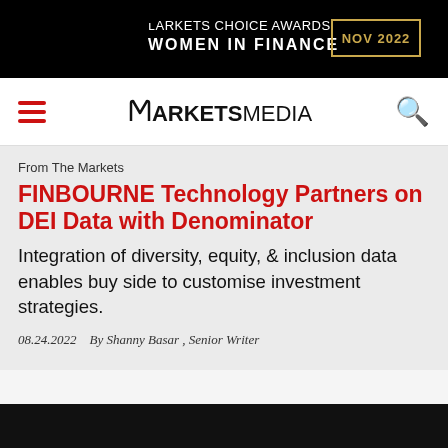[Figure (illustration): Markets Choice Awards Women in Finance NOV 2022 banner advertisement on black background with gold border date box]
MARKETS MEDIA (navigation bar with hamburger menu and search icon)
From The Markets
FINBOURNE Technology Partners on DEI Data with Denominator
Integration of diversity, equity, & inclusion data enables buy side to customise investment strategies.
08.24.2022   By Shanny Basar , Senior Writer